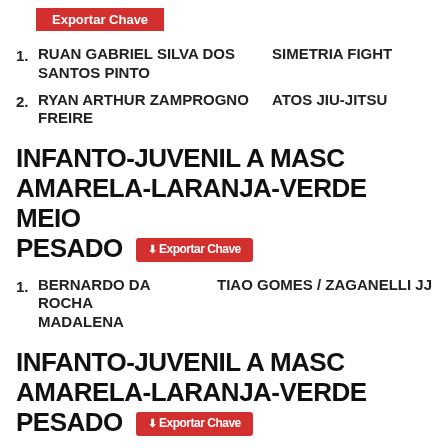Exportar Chave
1. RUAN GABRIEL SILVA DOS SANTOS PINTO — SIMETRIA FIGHT
2. RYAN ARTHUR ZAMPROGNO FREIRE — ATOS JIU-JITSU
INFANTO-JUVENIL A MASC AMARELA-LARANJA-VERDE MEIO PESADO
1. BERNARDO DA ROCHA MADALENA — TIAO GOMES / ZAGANELLI JJ
INFANTO-JUVENIL A MASC AMARELA-LARANJA-VERDE PESADO
1. FELIPE PEREIRA RAMOS — GF TEAM
2. GABRIEL N. NAEGELE MARTINS — CHECKMAT